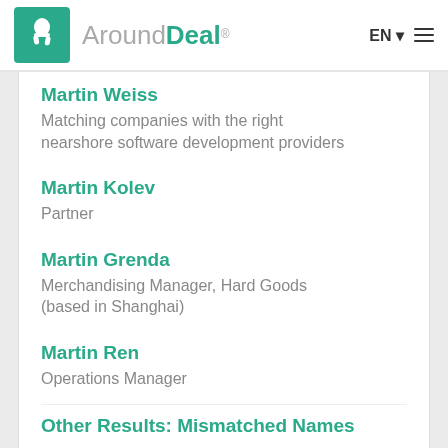AroundDeal
Martin Weiss
Matching companies with the right nearshore software development providers
Martin Kolev
Partner
Martin Grenda
Merchandising Manager, Hard Goods (based in Shanghai)
Martin Ren
Operations Manager
Other Results: Mismatched Names